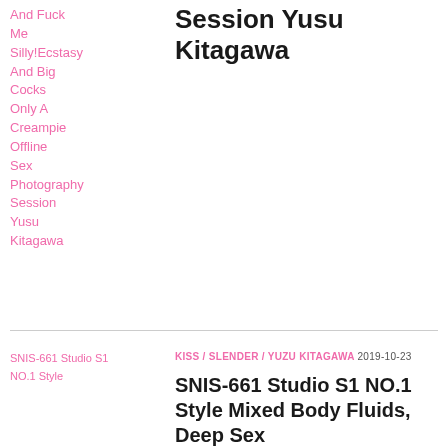Session Yusu Kitagawa
And Fuck Me Silly!Ecstasy And Big Cocks Only A Creampie Offline Sex Photography Session Yusu Kitagawa
[Figure (other): Thumbnail image for SNIS-661 Studio S1 NO.1 Style]
KISS / SLENDER / YUZU KITAGAWA  2019-10-23
SNIS-661 Studio S1 NO.1 Style Mixed Body Fluids, Deep Sex